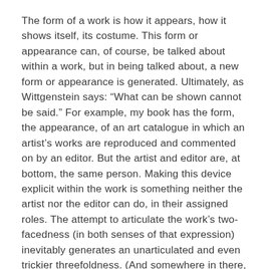The form of a work is how it appears, how it shows itself, its costume. This form or appearance can, of course, be talked about within a work, but in being talked about, a new form or appearance is generated. Ultimately, as Wittgenstein says: “What can be shown cannot be said.” For example, my book has the form, the appearance, of an art catalogue in which an artist’s works are reproduced and commented on by an editor. But the artist and editor are, at bottom, the same person. Making this device explicit within the work is something neither the artist nor the editor can do, in their assigned roles. The attempt to articulate the work’s two-facedness (in both senses of that expression) inevitably generates an unarticulated and even trickier threefoldness. (And somewhere in there, though I won’t try to unearth it now, is a connection with the parergon.)
Putting Wittgenstein’s “what can be shown cannot be said” together with the psychoanalytic commonplace that if